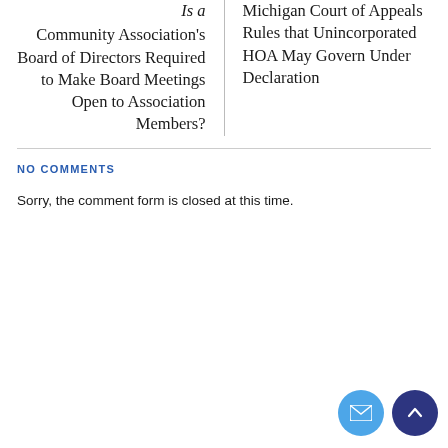Is a Community Association's Board of Directors Required to Make Board Meetings Open to Association Members?
Michigan Court of Appeals Rules that Unincorporated HOA May Govern Under Declaration
NO COMMENTS
Sorry, the comment form is closed at this time.